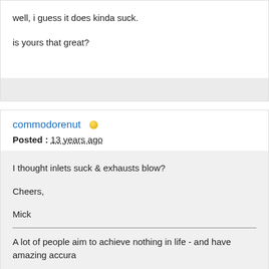well, i guess it does kinda suck.

is yours that great?
commodorenut
Posted : 13 years ago
I thought inlets suck & exhausts blow?

Cheers,

Mick
A lot of people aim to achieve nothing in life - and have amazing accura
Cheers,